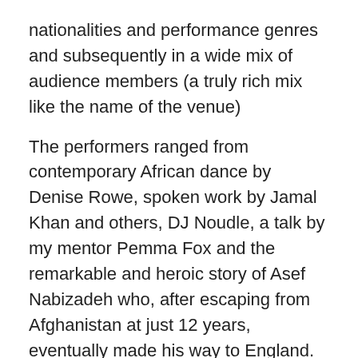nationalities and performance genres and subsequently in a wide mix of audience members (a truly rich mix like the name of the venue)
The performers ranged from contemporary African dance by Denise Rowe, spoken work by Jamal Khan and others, DJ Noudle, a talk by my mentor Pemma Fox and the remarkable and heroic story of Asef Nabizadeh who, after escaping from Afghanistan at just 12 years, eventually made his way to England. The story of a refugee, from his own mouth, many of whom are silent statistics, is the story of our time.
The show was about listening to people that we might not otherwise hear.  An evening of depth, live and humanity and a great night out!
Emma Stow